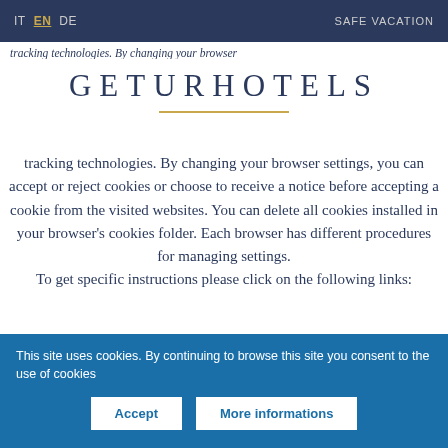IT  EN  DE  SAFE VACATION
tracking technologies. By changing your browser settings, you can accept or reject cookies or choose to receive a notice before accepting a cookie from the visited websites. You can delete all cookies installed in your browser's cookies folder. Each browser has different procedures for managing settings. To get specific instructions please click on the following links:
GETURHOTELS
This site uses cookies. By continuing to browse this site you consent to the use of cookies
Accept  More informations